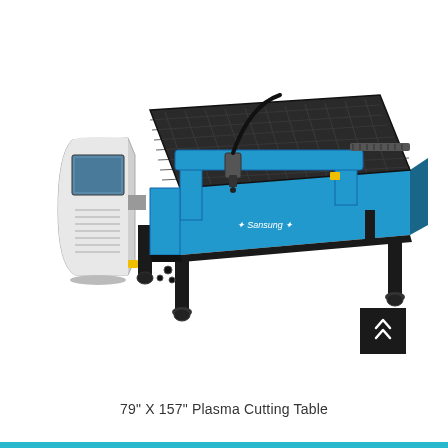[Figure (photo): A large industrial CNC plasma cutting table in blue and black, with a gantry arm and cutting head mounted on a flat slotted work surface. A separate white control panel/console is attached to the left side. The machine has caster wheels and a visible cable chain. A small dark scroll-to-top button with a chevron icon appears in the lower right area of the image.]
79" X 157" Plasma Cutting Table